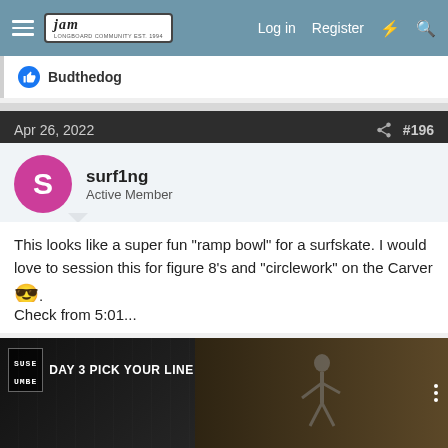JAM forum navigation bar with Log in, Register links
Budthedog
Apr 26, 2022  #196
surf1ng
Active Member
This looks like a super fun "ramp bowl" for a surfskate. I would love to session this for figure 8's and "circlework" on the Carver 😎.
Check from 5:01...
[Figure (screenshot): Video thumbnail showing 'DAY 3 PICK YOUR LINE' with a skater silhouette and brand logo]